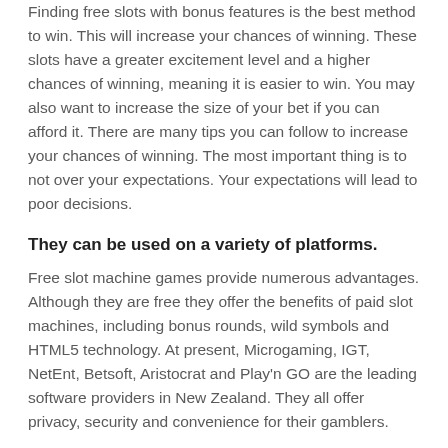Finding free slots with bonus features is the best method to win. This will increase your chances of winning. These slots have a greater excitement level and a higher chances of winning, meaning it is easier to win. You may also want to increase the size of your bet if you can afford it. There are many tips you can follow to increase your chances of winning. The most important thing is to not over your expectations. Your expectations will lead to poor decisions.
They can be used on a variety of platforms.
Free slot machine games provide numerous advantages. Although they are free they offer the benefits of paid slot machines, including bonus rounds, wild symbols and HTML5 technology. At present, Microgaming, IGT, NetEnt, Betsoft, Aristocrat and Play'n GO are the leading software providers in New Zealand. They all offer privacy, security and convenience for their gamblers.